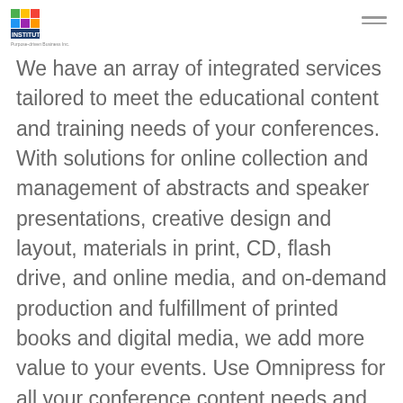AMS Institute — Purpose-driven Business Inc.
We have an array of integrated services tailored to meet the educational content and training needs of your conferences. With solutions for online collection and management of abstracts and speaker presentations, creative design and layout, materials in print, CD, flash drive, and online media, and on-demand production and fulfillment of printed books and digital media, we add more value to your events. Use Omnipress for all your conference content needs and start serving your clients better today!
Silver Level